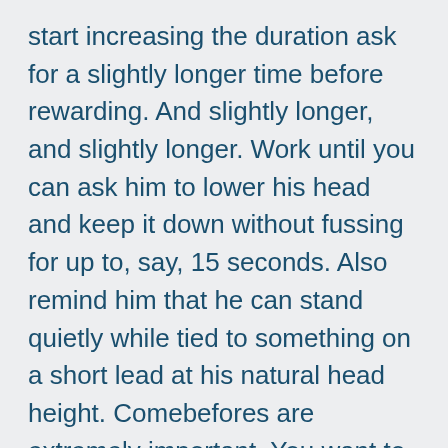start increasing the duration ask for a slightly longer time before rewarding. And slightly longer, and slightly longer. Work until you can ask him to lower his head and keep it down without fussing for up to, say, 15 seconds. Also remind him that he can stand quietly while tied to something on a short lead at his natural head height. Comebefores are extremely important. You want to TEACH the llama to lie down on